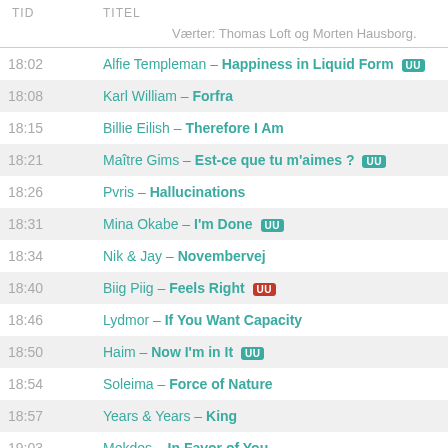| TID | TITEL |
| --- | --- |
|  | Værter: Thomas Loft og Morten Hausborg. |
| 18:02 | Alfie Templeman – Happiness in Liquid Form [UU] |
| 18:08 | Karl William – Forfra |
| 18:15 | Billie Eilish – Therefore I Am |
| 18:21 | Maître Gims – Est-ce que tu m'aimes ? [UU] |
| 18:26 | Pvris – Hallucinations |
| 18:31 | Mina Okabe – I'm Done [UU] |
| 18:34 | Nik & Jay – Novembervej |
| 18:40 | Biig Piig – Feels Right [UU] |
| 18:46 | Lydmor – If You Want Capacity |
| 18:50 | Haim – Now I'm in It [UU] |
| 18:54 | Soleima – Force of Nature |
| 18:57 | Years & Years – King |
| 19:03 | Mekdes – In Favor of You |
| 19:09 | Katy Perry – Roar |
| 19:16 | Ariana Grande – Positions |